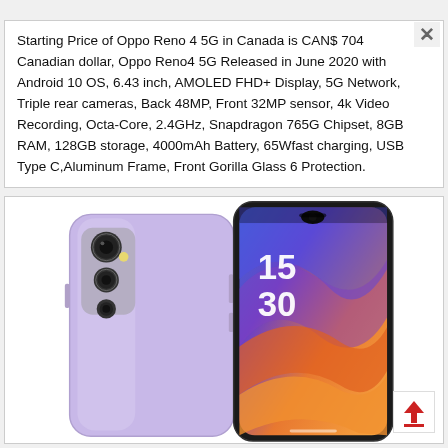Starting Price of Oppo Reno 4 5G in Canada is CAN$ 704 Canadian dollar, Oppo Reno4 5G Released in June 2020 with Android 10 OS, 6.43 inch, AMOLED FHD+ Display, 5G Network, Triple rear cameras, Back 48MP, Front 32MP sensor, 4k Video Recording, Octa-Core, 2.4GHz, Snapdragon 765G Chipset, 8GB RAM, 128GB storage, 4000mAh Battery, 65Wfast charging, USB Type C,Aluminum Frame, Front Gorilla Glass 6 Protection.
[Figure (photo): Oppo Reno 4 5G smartphone shown from back and front. The back is light lavender/purple with triple rear cameras. The front shows the display with time 15:30 and colorful abstract wallpaper.]